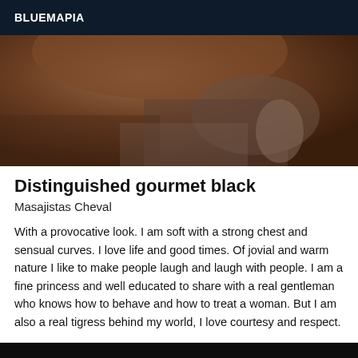BLUEMAPIA
[Figure (photo): Close-up photo of a person wearing a brown/dark outfit, partially visible, taken from above showing chest/shoulder area with a patterned fabric visible in background]
Distinguished gourmet black
Masajistas Cheval
With a provocative look. I am soft with a strong chest and sensual curves. I love life and good times. Of jovial and warm nature I like to make people laugh and laugh with people. I am a fine princess and well educated to share with a real gentleman who knows how to behave and how to treat a woman. But I am also a real tigress behind my world, I love courtesy and respect.
[Figure (photo): Dark/black photo area at bottom of page, mostly black]